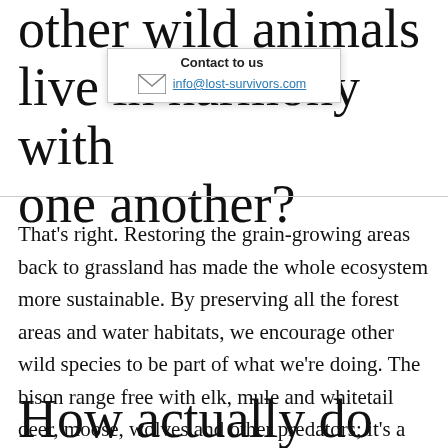other wild animals live in harmony with one another?
[Figure (other): Email contact overlay popup showing 'Contact to us' label and envelope icon with link info@lost-survivors.com]
That's right. Restoring the grain-growing areas back to grassland has made the whole ecosystem more sustainable. By preserving all the forest areas and water habitats, we encourage other wild species to be part of what we're doing. The bison range free with elk, mule and whitetail deer, moose, wolves and other predators; it's a natural environment for the bison and they seem to do very well.
How actually do...